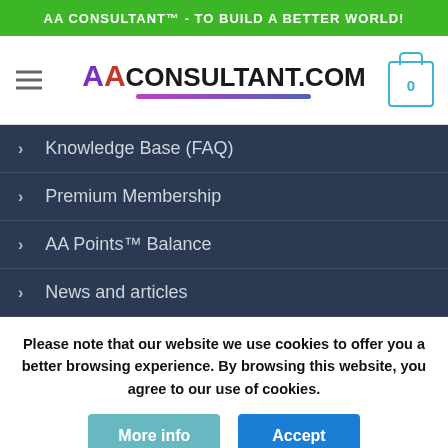AA CONSULTANT™ - TO BUILD A BETTER WORLD!
[Figure (logo): AA Consultant.com logo with hamburger menu and cart icon showing 0]
Knowledge Base (FAQ)
Premium Membership
AA Points™ Balance
News and articles
Please note that our website we use cookies to offer you a better browsing experience. By browsing this website, you agree to our use of cookies.
More info | Accept